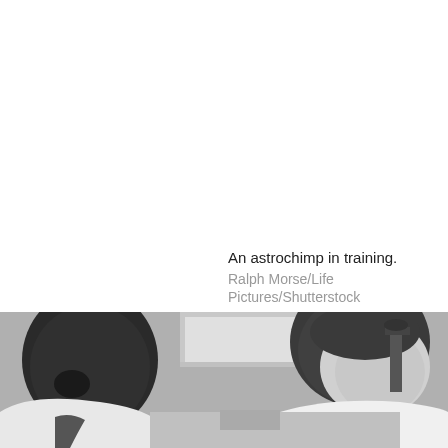An astrochimp in training.
Ralph Morse/Life Pictures/Shutterstock
[Figure (photo): Black and white photograph of two men in white lab coats, one on the left with short dark hair leaning forward, and one on the right also leaning over, with a microscope visible in the background.]